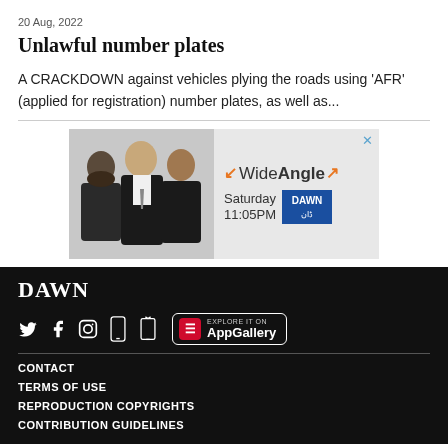20 Aug, 2022
Unlawful number plates
A CRACKDOWN against vehicles plying the roads using 'AFR' (applied for registration) number plates, as well as...
[Figure (infographic): Advertisement banner for WideAngle show on DAWN TV, showing three men in suits, orange and black WideAngle logo with arrows, Saturday 11:05PM, DAWN blue badge, with X close button]
DAWN
CONTACT
TERMS OF USE
REPRODUCTION COPYRIGHTS
CONTRIBUTION GUIDELINES